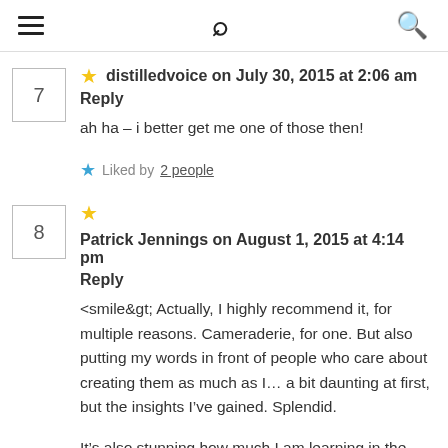≡  🔍
distilledvoice on July 30, 2015 at 2:06 am
Reply
ah ha – i better get me one of those then!
Liked by 2 people
Patrick Jennings on August 1, 2015 at 4:14 pm
Reply
<smile&gt; Actually, I highly recommend it, for multiple reasons. Cameraderie, for one. But also putting my words in front of people who care about creating them as much as I… a bit daunting at first, but the insights I've gained. Splendid.

It's also stunning how much I am learning in the